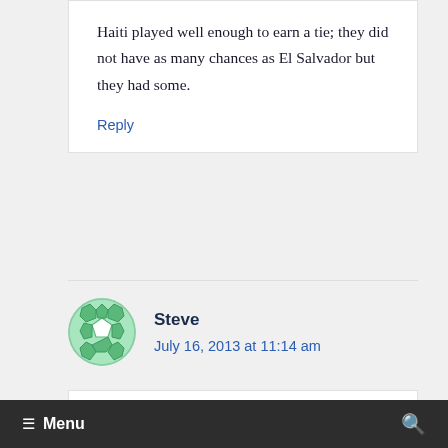Haiti played well enough to earn a tie; they did not have as many chances as El Salvador but they had some.
Reply
Steve
July 16, 2013 at 11:14 am
Sooo...W-D-L tonight who do we play in
≡ Menu